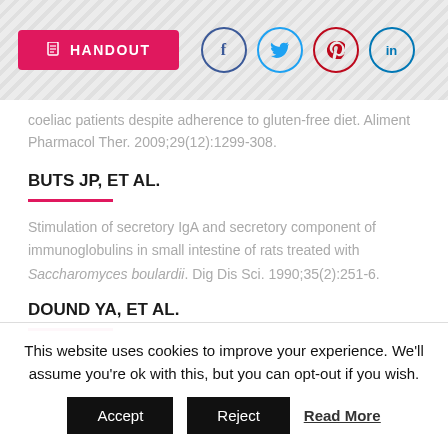HANDOUT [social icons: Facebook, Twitter, Pinterest, LinkedIn]
coeliac patients despite adherence to gluten-free diet. Aliment Pharmacol Ther. 2009;29(12):1299-308.
BUTS JP, ET AL.
Stimulation of secretory IgA and secretory component of immunoglobulins in small intestine of rats treated with Saccharomyces boulardii. Dig Dis Sci. 1990;35(2):251-6.
DOUND YA, ET AL.
This website uses cookies to improve your experience. We'll assume you're ok with this, but you can opt-out if you wish.